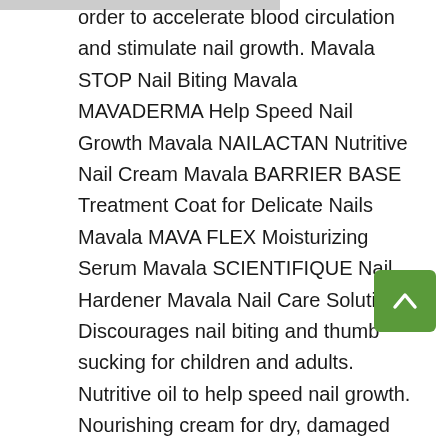order to accelerate blood circulation and stimulate nail growth. Mavala STOP Nail Biting Mavala MAVADERMA Help Speed Nail Growth Mavala NAILACTAN Nutritive Nail Cream Mavala BARRIER BASE Treatment Coat for Delicate Nails Mavala MAVA FLEX Moisturizing Serum Mavala SCIENTIFIQUE Nail Hardener Mavala Nail Care Solution Discourages nail biting and thumb sucking for children and adults. Nutritive oil to help speed nail growth. Nourishing cream for dry, damaged nails. Moisturizing base coat specially formulated for sensitive, delicate, and dry nails. Moisturizing serum to restore flexibility to dry breaking nails. Penetrating nail hardener repairs soft, splitting nails. Treats Nail biting and thumb sucking.